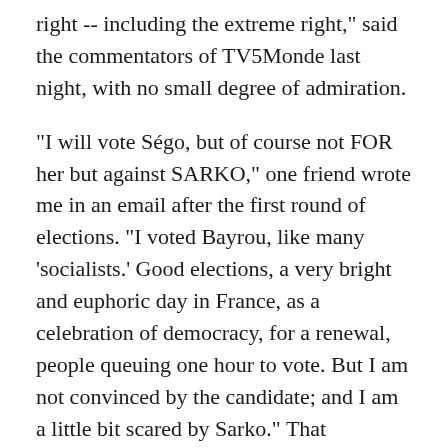right -- including the extreme right," said the commentators of TV5Monde last night, with no small degree of admiration.
"I will vote Ségo, but of course not FOR her but against SARKO," one friend wrote me in an email after the first round of elections. "I voted Bayrou, like many 'socialists.' Good elections, a very bright and euphoric day in France, as a celebration of democracy, for a renewal, people queuing one hour to vote. But I am not convinced by the candidate; and I am a little bit scared by Sarko." That sentiment was everywhere. And in the second round, the centrist Sarko supporters were those who felt, whatever their reservations about him, that Royal's meanderings simply didn't add up to leadership.